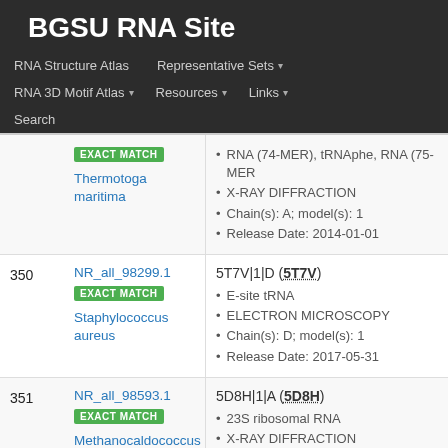BGSU RNA Site
RNA Structure Atlas | Representative Sets ▾ | RNA 3D Motif Atlas ▾ | Resources ▾ | Links ▾ | Search
| # | ID / Match | Structure Details |
| --- | --- | --- |
|  | NR_all_98299.1 EXACT MATCH Thermotoga maritima | RNA (74-MER), tRNAphe, RNA (75-MER) • X-RAY DIFFRACTION • Chain(s): A; model(s): 1 • Release Date: 2014-01-01 |
| 350 | NR_all_98299.1 EXACT MATCH Staphylococcus aureus | 5T7V|1|D (5T7V) • E-site tRNA • ELECTRON MICROSCOPY • Chain(s): D; model(s): 1 • Release Date: 2017-05-31 |
| 351 | NR_all_98593.1 EXACT MATCH Methanocaldococcus jannaschii | 5D8H|1|A (5D8H) • 23S ribosomal RNA • X-RAY DIFFRACTION • Chain(s): A; model(s): 1 |